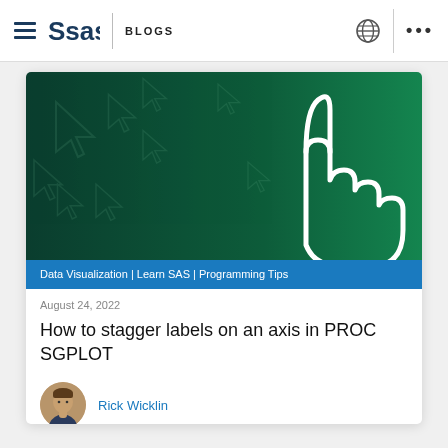SAS BLOGS
[Figure (illustration): Dark green gradient background with faint cursor/hand icons pattern. Large white outlined pointing hand/cursor icon centered-right on the image.]
Data Visualization | Learn SAS | Programming Tips
August 24, 2022
How to stagger labels on an axis in PROC SGPLOT
[Figure (photo): Circular avatar photo of Rick Wicklin, a man in professional attire]
Rick Wicklin